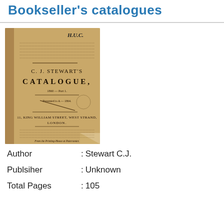Bookseller's catalogues
[Figure (photo): Photograph of an old book cover: C. J. Stewart's Catalogue, with text about publication details and address at 11 King William Street, West Strand, London. Handwritten 'H.U.C.' in upper right corner. Book pages are curled at bottom right.]
Author : Stewart C.J.
Publsiher : Unknown
Total Pages : 105